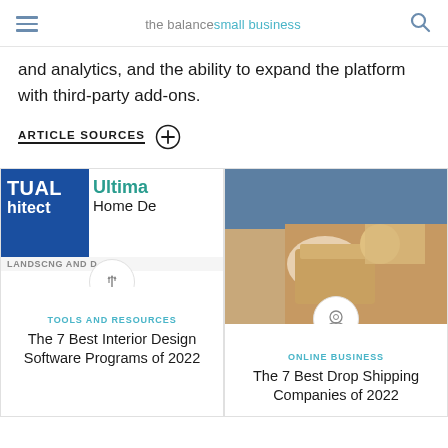the balance small business
and analytics, and the ability to expand the platform with third-party add-ons.
ARTICLE SOURCES
[Figure (screenshot): Card for 'The 7 Best Interior Design Software Programs of 2022' under TOOLS AND RESOURCES category]
[Figure (photo): Card for 'The 7 Best Drop Shipping Companies of 2022' under ONLINE BUSINESS category, showing a person taping a cardboard box]